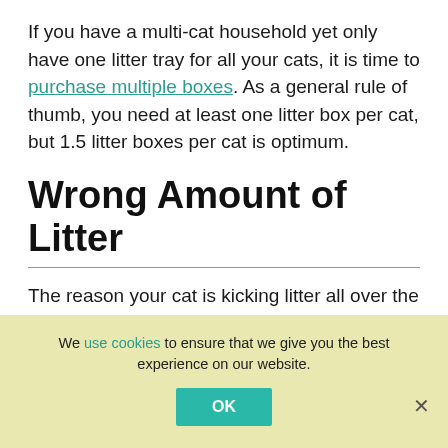If you have a multi-cat household yet only have one litter tray for all your cats, it is time to purchase multiple boxes. As a general rule of thumb, you need at least one litter box per cat, but 1.5 litter boxes per cat is optimum.
Wrong Amount of Litter
The reason your cat is kicking litter all over the floor may simply be down to there being too much litter in the tray. Having a deep layer of cat
We use cookies to ensure that we give you the best experience on our website.